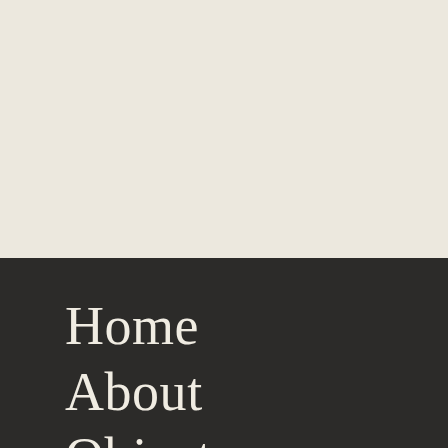[Figure (other): Top half of page with warm cream/beige background color fill]
Home
About
Objects